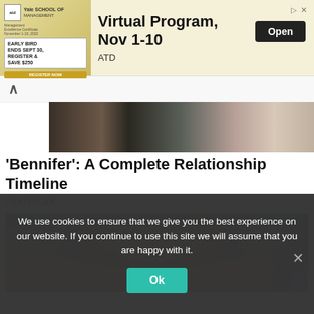[Figure (screenshot): Advertisement banner for ATD Yale School of Management Management Excellence Certificate, Virtual Program Nov 1-10, with Open button]
[Figure (photo): Partial photo of two people, top portion visible above article title]
‘Bennifer’: A Complete Relationship Timeline
TRAITSLAB
[Figure (photo): Photo of a person with curly/wavy blonde hair and blue eyes against a blue background]
We use cookies to ensure that we give you the best experience on our website. If you continue to use this site we will assume that you are happy with it.